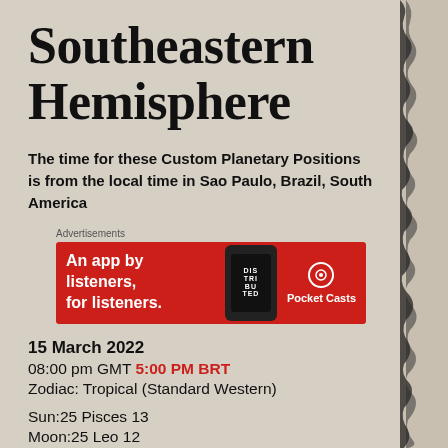Southeastern Hemisphere
The time for these Custom Planetary Positions is from the local time in Sao Paulo, Brazil, South America
[Figure (other): Pocket Casts advertisement banner: red background with text 'An app by listeners, for listeners.' alongside a smartphone image and Pocket Casts logo/brand name]
15 March 2022
08:00 pm GMT 5:00 PM BRT
Zodiac: Tropical (Standard Western)
Sun:25 Pisces 13
Moon:25 Leo 12